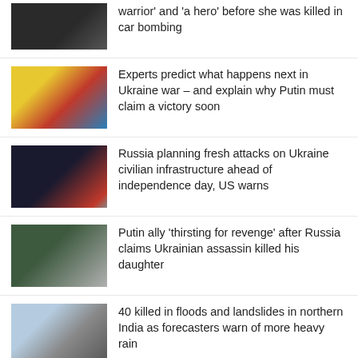warrior’ and ‘a hero’ before she was killed in car bombing
[Figure (photo): Thumbnail photo of two people]
Experts predict what happens next in Ukraine war – and explain why Putin must claim a victory soon
[Figure (photo): Thumbnail photo of protest or conflict scene with yellow and red flags]
Russia planning fresh attacks on Ukraine civilian infrastructure ahead of independence day, US warns
[Figure (photo): Thumbnail photo of dark sky with bright light]
Putin ally ‘thirsting for revenge’ after Russia claims Ukrainian assassin killed his daughter
[Figure (photo): Thumbnail photo of an older man with beard and a younger woman]
40 killed in floods and landslides in northern India as forecasters warn of more heavy rain
[Figure (photo): Aerial thumbnail photo of flood damage]
Daughter of Russian ultra-nationalist killed in
[Figure (photo): Thumbnail photo of green trees or foliage]